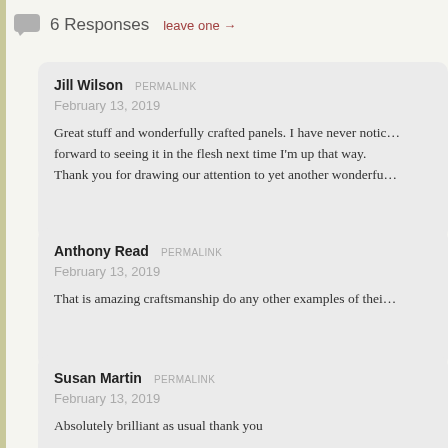6 Responses  leave one →
Jill Wilson  PERMALINK
February 13, 2019
Great stuff and wonderfully crafted panels. I have never notic... forward to seeing it in the flesh next time I'm up that way.
Thank you for drawing our attention to yet another wonderfu...
Anthony Read  PERMALINK
February 13, 2019
That is amazing craftsmanship do any other examples of thei...
Susan Martin  PERMALINK
February 13, 2019
Absolutely brilliant as usual thank you